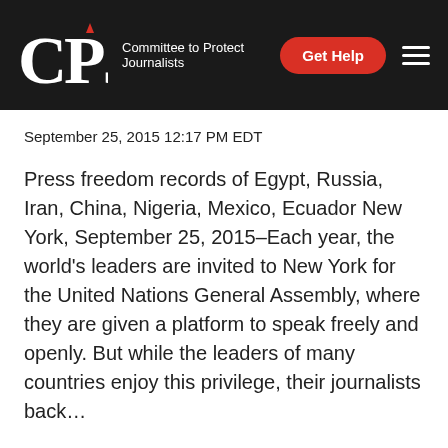CPJ — Committee to Protect Journalists | Get Help
September 25, 2015 12:17 PM EDT
Press freedom records of Egypt, Russia, Iran, China, Nigeria, Mexico, Ecuador New York, September 25, 2015–Each year, the world's leaders are invited to New York for the United Nations General Assembly, where they are given a platform to speak freely and openly. But while the leaders of many countries enjoy this privilege, their journalists back…
Read More ›